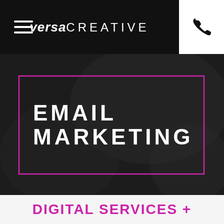versa CREATIVE
[Figure (screenshot): Hero banner with dark blurred background, pink border rectangle, and 'EMAIL MARKETING' text in white bold uppercase letters]
EMAIL MARKETING
DIGITAL SERVICES +